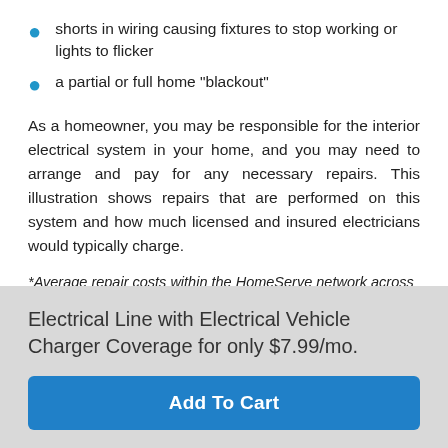shorts in wiring causing fixtures to stop working or lights to flicker
a partial or full home "blackout"
As a homeowner, you may be responsible for the interior electrical system in your home, and you may need to arrange and pay for any necessary repairs. This illustration shows repairs that are performed on this system and how much licensed and insured electricians would typically charge.
*Average repair costs within the HomeServe network across North America as of June 2020.
Electrical Line with Electrical Vehicle Charger Coverage for only $7.99/mo.
Add To Cart